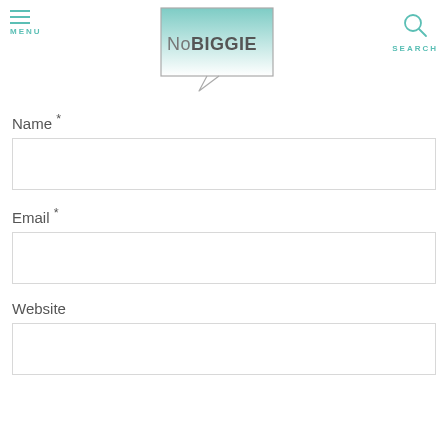[Figure (logo): NoBIGGIE logo — speech bubble with teal-to-white gradient fill, text 'NoBIGGIE' inside]
Name *
Email *
Website